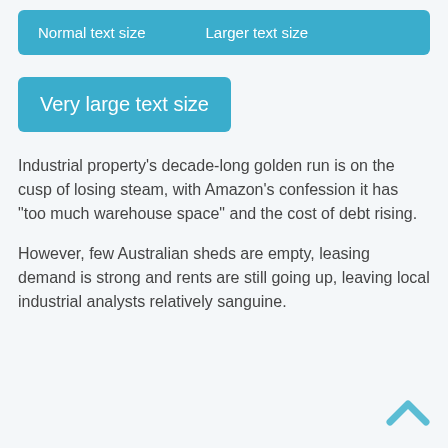Normal text size    Larger text size
Very large text size
Industrial property’s decade-long golden run is on the cusp of losing steam, with Amazon’s confession it has “too much warehouse space” and the cost of debt rising.
However, few Australian sheds are empty, leasing demand is strong and rents are still going up, leaving local industrial analysts relatively sanguine.